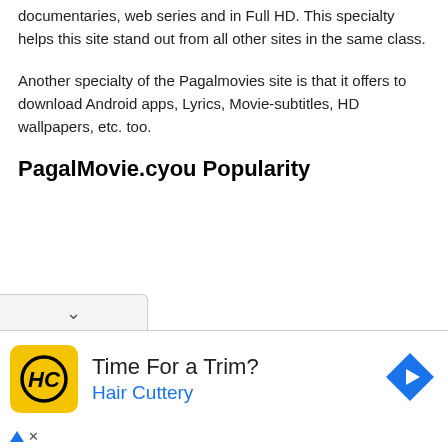documentaries, web series and in Full HD. This specialty helps this site stand out from all other sites in the same class.
Another specialty of the Pagalmovies site is that it offers to download Android apps, Lyrics, Movie-subtitles, HD wallpapers, etc. too.
PagalMovie.cyou Popularity
[Figure (other): Advertisement banner: Time For a Trim? Hair Cuttery, with yellow HC logo icon and blue navigation arrow icon]